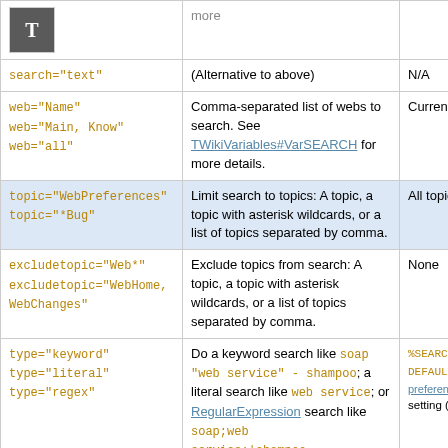| Parameter | Description | Default |
| --- | --- | --- |
| search="text" | (Alternative to above) | N/A |
| web="Name"
web="Main, Know"
web="all" | Comma-separated list of webs to search. See TWikiVariables#VarSEARCH for more details. | Current w... |
| topic="WebPreferences"
topic="*Bug" | Limit search to topics: A topic, a topic with asterisk wildcards, or a list of topics separated by comma. | All topics i... |
| excludetopic="Web*"
excludetopic="WebHome, WebChanges" | Exclude topics from search: A topic, a topic with asterisk wildcards, or a list of topics separated by comma. | None |
| type="keyword"
type="literal"
type="regex" | Do a keyword search like soap "web service" - shampoo; a literal search like web service; or RegularExpression search like soap;web service;|shampoo | %SEARCHVA...
DEFAULTTY...
preference...
setting (lite... |